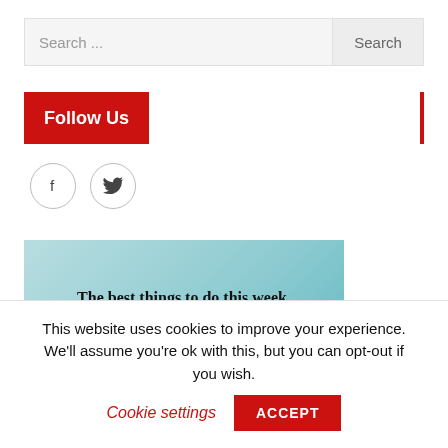[Figure (screenshot): Search bar with placeholder text 'Search ...' and a 'Search' button on the right]
Follow Us
[Figure (illustration): Two circular social media icons: Facebook (f) and Twitter (bird)]
[Figure (infographic): Newsletter promotional banner with teal gradient background. Text: 'The best things to do this week, delivered right to your inbox.' and large red text 'sign up now!']
This website uses cookies to improve your experience. We'll assume you're ok with this, but you can opt-out if you wish.
Cookie settings
ACCEPT